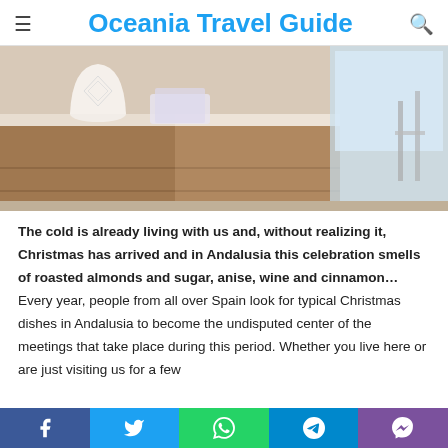Oceania Travel Guide
[Figure (photo): A wooden dresser/sideboard with white decorative items on top, bright window light in background]
The cold is already living with us and, without realizing it, Christmas has arrived and in Andalusia this celebration smells of roasted almonds and sugar, anise, wine and cinnamon… Every year, people from all over Spain look for typical Christmas dishes in Andalusia to become the undisputed center of the meetings that take place during this period. Whether you live here or are just visiting us for a few